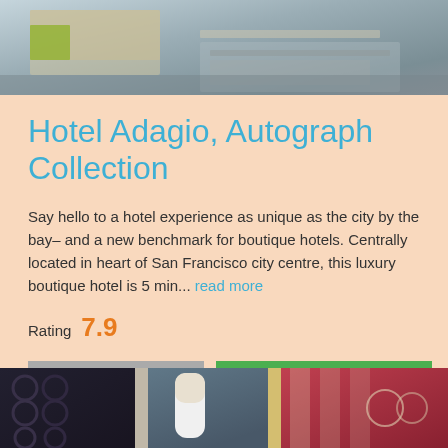[Figure (photo): Hotel room interior photo showing a sofa with green decorative pillow and a modern glass coffee table on hardwood floor]
Hotel Adagio, Autograph Collection
Say hello to a hotel experience as unique as the city by the bay– and a new benchmark for boutique hotels. Centrally located in heart of San Francisco city centre, this luxury boutique hotel is 5 min... read more
Rating 7.9
Read more
Available rooms
[Figure (photo): Hotel interior collage showing decorative lamps and room furnishings with various colors including blue, yellow, and red striped fabrics]